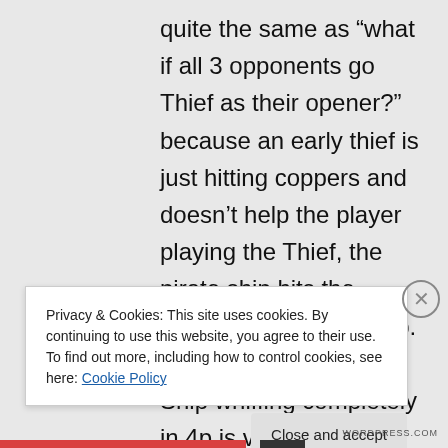quite the same as “what if all 3 opponents go Thief as their opener?” because an early thief is just hitting coppers and doesn’t help the player playing the Thief, the pirate ship hits the coppers and powers up. The chance of Pirate Ship whiffing completely in 4p is very slim.
Privacy & Cookies: This site uses cookies. By continuing to use this website, you agree to their use.
To find out more, including how to control cookies, see here: Cookie Policy
Close and accept